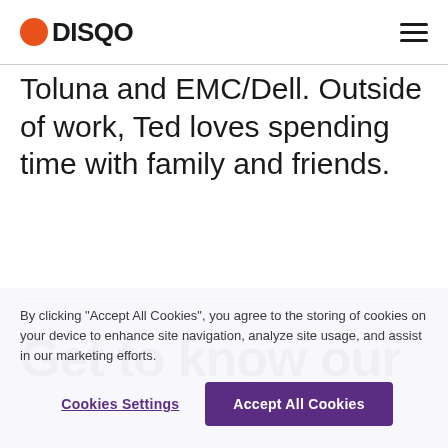DISQO
Toluna and EMC/Dell. Outside of work, Ted loves spending time with family and friends.
Get to know our
By clicking "Accept All Cookies", you agree to the storing of cookies on your device to enhance site navigation, analyze site usage, and assist in our marketing efforts.